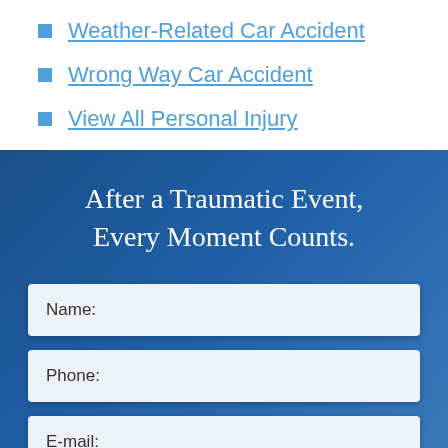Weather-Related Car Accident
Wrong Way Car Accident
View All Personal Injury
After a Traumatic Event, Every Moment Counts.
Name:
Phone:
E-mail:
Message: